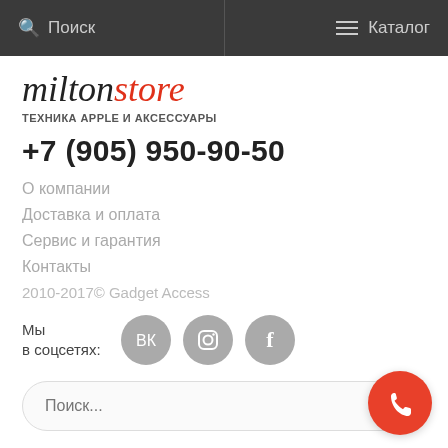Поиск | Каталог
[Figure (logo): MiltonStore logo — italic script 'milton' in black and 'store' in red]
ТЕХНИКА APPLE И АКСЕССУАРЫ
+7 (905) 950-90-50
О компании
Доставка и оплата
Сервис и гарантия
Контакты
2010-2017© Gadget Access
Мы в соцсетях:
[Figure (infographic): Three grey social media circles: VK, Instagram, Facebook]
Поиск...